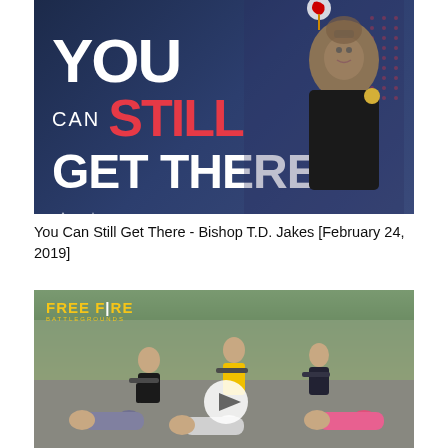[Figure (screenshot): Video thumbnail for 'You Can Still Get There - Bishop T.D. Jakes'. Dark blue background with large bold text 'YOU CAN STILL GET THERE' in white and red. An older Black man in a suit gestures on the right side with a medal/ribbon visible.]
You Can Still Get There - Bishop T.D. Jakes [February 24, 2019]
[Figure (screenshot): Free Fire game promotional video thumbnail showing children dressed as game characters holding toy rifles, with other children lying on the ground. 'FREE FIRE' logo in yellow top-left. Play button overlay in center.]